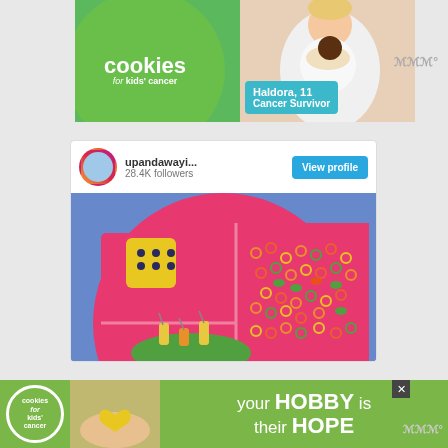[Figure (photo): Top banner advertisement for 'cookies for kids' cancer' charity featuring a green circle logo and a teal box saying 'Haldora, 11 Cancer Survivor' with a child holding a cake in the background]
[Figure (screenshot): Instagram profile card for 'upandawayi...' with 28.4K followers, a 'View profile' button, and a photo of a pink divided plate with colored cereal loops and a yellow dice]
upandawayi...
28.4K followers
View profile
[Figure (photo): Bottom banner ad for 'cookies for kids cancer' with text 'your HOBBY is their HOPE' on a green background with a photo of hands holding a heart-shaped cookie]